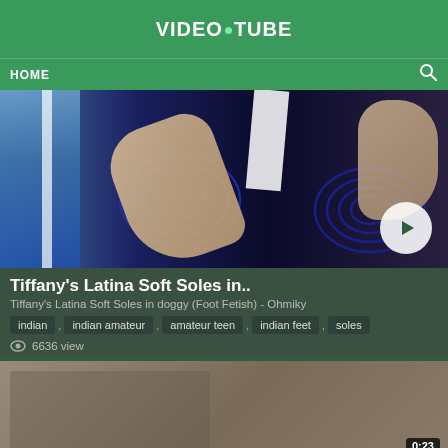VIDEO•TUBE
HOME
[Figure (screenshot): Video thumbnail showing feet/soles with spiral patterned background and play button overlay]
Tiffany's Latina Soft Soles in..
Tiffany's Latina Soft Soles in doggy (Foot Fetish) - Ohmiky
indian , indian amateur , amateur teen , indian feet , soles
6636 view
[Figure (screenshot): Second video thumbnail with duration badge 0:23]